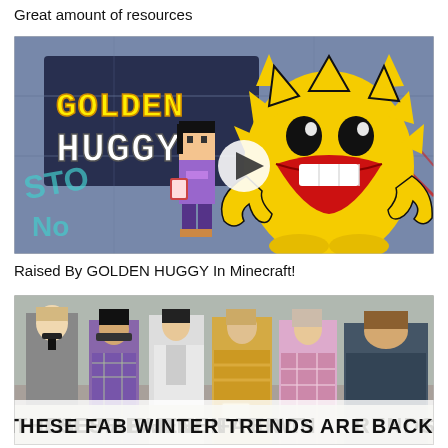Great amount of resources
[Figure (screenshot): YouTube-style video thumbnail showing 'GOLDEN HUGGY' text in pixel/Minecraft font on the left, and a large yellow spiky monster character with a big red mouth on the right. A Minecraft-style girl character stands in the middle. A play button circle is visible in the center. Background is a stylized building interior with 'STOP' and 'NO' graffiti.]
Raised By GOLDEN HUGGY In Minecraft!
[Figure (photo): Photo of several women in fashionable winter outfits walking outdoors. A text overlay at the bottom reads 'THESE FAB WIN(TER TR)ENDS ARE BACK!' in bold black letters on white/light background.]